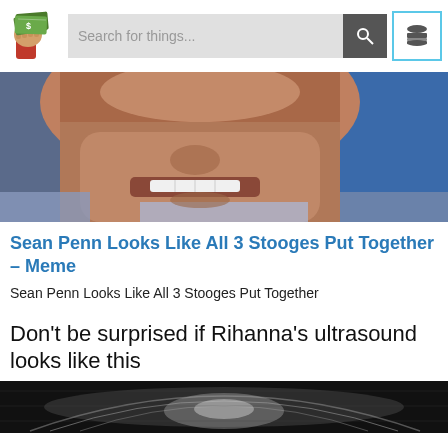[Figure (logo): Website logo: hand holding a wad of cash bills with a red sleeve]
[Figure (screenshot): Search bar with placeholder text 'Search for things...' and a dark search button with magnifying glass icon, plus a menu hamburger icon button with cyan border]
[Figure (photo): Close-up photo of a man's face making a grimacing expression, wearing a suit, with blue background]
Sean Penn Looks Like All 3 Stooges Put Together – Meme
Sean Penn Looks Like All 3 Stooges Put Together
Don't be surprised if Rihanna's ultrasound looks like this
[Figure (photo): Partial ultrasound image in black and white, bottom of page cut off]